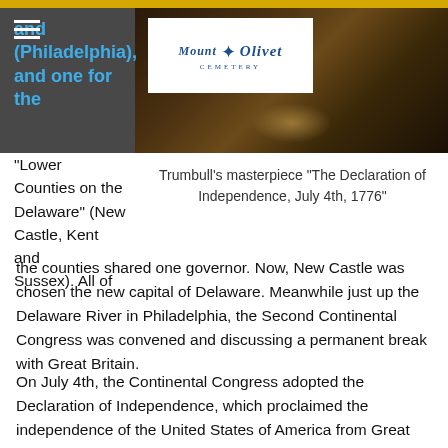[Figure (photo): Mount Olivet Cemetery logo on dark background photo of illuminated gravestone]
Trumbull's masterpiece "The Declaration of Independence, July 4th, 1776"
and (Philadelphia), and one for the "Lower Counties on the Delaware" (New Castle, Kent and Sussex). All of the counties shared one governor. Now, New Castle was chosen the new capital of Delaware. Meanwhile just up the Delaware River in Philadelphia, the Second Continental Congress was convened and discussing a permanent break with Great Britain.
On July 4th, the Continental Congress adopted the Declaration of Independence, which proclaimed the independence of the United States of America from Great Britain and its king. Contrary to popular belief, the legendary convention of delegates adopted Richard